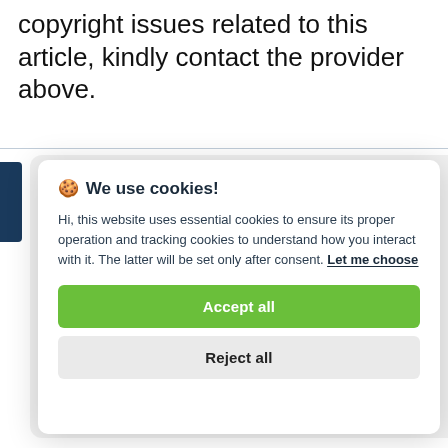copyright issues related to this article, kindly contact the provider above.
🍪 We use cookies!

Hi, this website uses essential cookies to ensure its proper operation and tracking cookies to understand how you interact with it. The latter will be set only after consent. Let me choose

[Accept all] [Reject all]